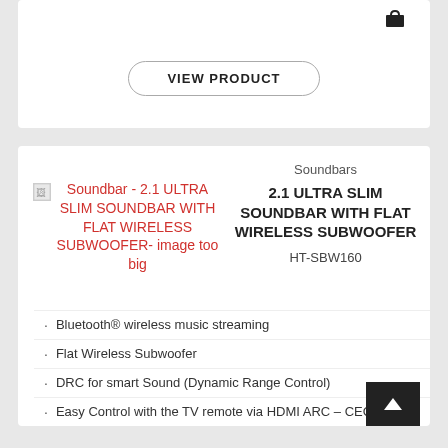[Figure (other): Cart icon top right of first card]
VIEW PRODUCT
[Figure (other): Broken image placeholder with alt text: Soundbar - 2.1 ULTRA SLIM SOUNDBAR WITH FLAT WIRELESS SUBWOOFER- image too big]
Soundbars
2.1 ULTRA SLIM SOUNDBAR WITH FLAT WIRELESS SUBWOOFER
HT-SBW160
Bluetooth® wireless music streaming
Flat Wireless Subwoofer
DRC for smart Sound (Dynamic Range Control)
Easy Control with the TV remote via HDMI ARC – CEC